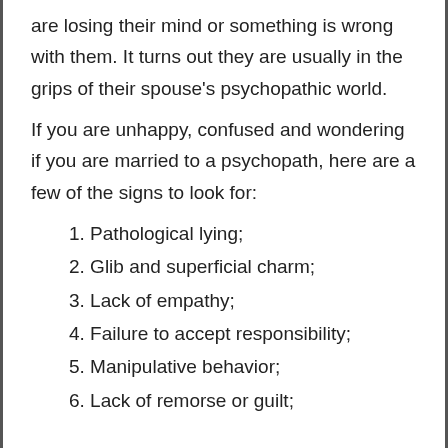are losing their mind or something is wrong with them. It turns out they are usually in the grips of their spouse's psychopathic world.
If you are unhappy, confused and wondering if you are married to a psychopath, here are a few of the signs to look for:
1. Pathological lying;
2. Glib and superficial charm;
3. Lack of empathy;
4. Failure to accept responsibility;
5. Manipulative behavior;
6. Lack of remorse or guilt;